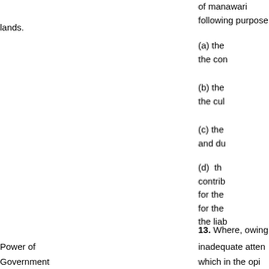of manawari following purpose lands.
(a) the the con
(b) the the cul
(c) the and du
(d) th contrib for the for the the liab
13. Where, owing
Power of inadequate atten
Government which in the opi